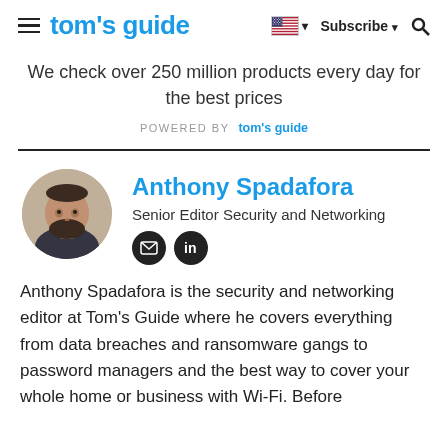tom's guide — Subscribe — Search
We check over 250 million products every day for the best prices
POWERED BY tom's guide
[Figure (photo): Circular headshot photo of Anthony Spadafora, a man with a beard wearing a plaid shirt]
Anthony Spadafora
Senior Editor Security and Networking
Anthony Spadafora is the security and networking editor at Tom's Guide where he covers everything from data breaches and ransomware gangs to password managers and the best way to cover your whole home or business with Wi-Fi. Before